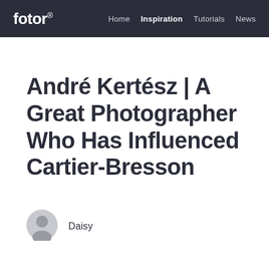fotor® | Home | Inspiration | Tutorials | News
André Kertész | A Great Photographer Who Has Influenced Cartier-Bresson
Daisy